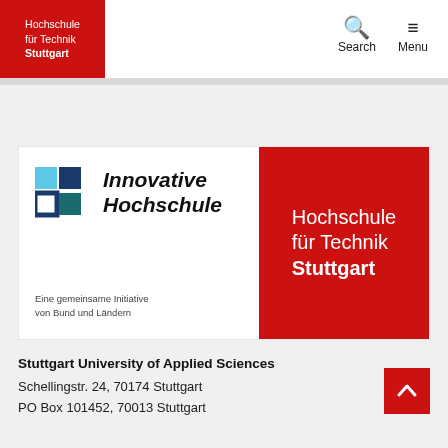Hochschule für Technik Stuttgart | Search | Menu
[Figure (logo): Innovative Hochschule logo with blue/teal interlocking squares and text 'Innovative Hochschule', subtitle 'Eine gemeinsame Initiative von Bund und Ländern', alongside Hochschule für Technik Stuttgart logo on red background]
Stuttgart University of Applied Sciences
Schellingstr. 24, 70174 Stuttgart
PO Box 101452, 70013 Stuttgart